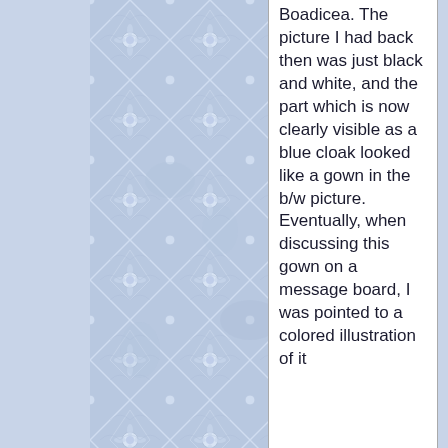[Figure (illustration): Blue decorative tile/snake-skin patterned background covering the left portion of the page, with diamond and floral motifs in light blue and white tones.]
Boadicea. The picture I had back then was just black and white, and the part which is now clearly visible as a blue cloak looked like a gown in the b/w picture. Eventually, when discussing this gown on a message board, I was pointed to a colored illustration of it